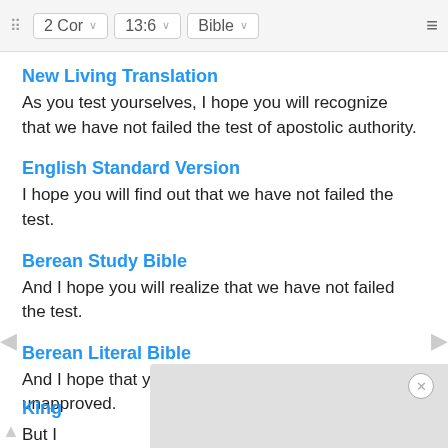2 Cor  13:6  Bible
New Living Translation
As you test yourselves, I hope you will recognize that we have not failed the test of apostolic authority.
English Standard Version
I hope you will find out that we have not failed the test.
Berean Study Bible
And I hope you will realize that we have not failed the test.
Berean Literal Bible
And I hope that you will realize that we are not unapproved.
King
But I